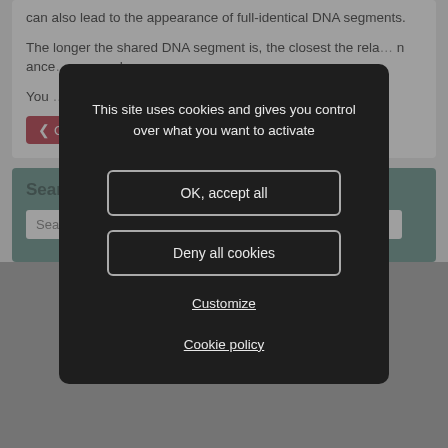can also lead to the appearance of full-identical DNA segments.
The longer the shared DNA segment is, the closest the relationship. Common ancestors, who share more DNA, have a greater chance...
You ... CSV file".
[Figure (screenshot): Cookie consent modal dialog on a dark background with options: OK accept all, Deny all cookies, Customize, Cookie policy]
Search